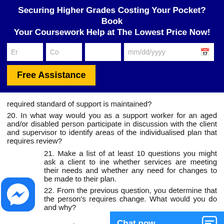[Figure (screenshot): Dark blue banner with coursework help advertisement, form fields (Email, Country, blank, date picker), and Free Assistance button]
required standard of support is maintained?
20. In what way would you as a support worker for an aged and/or disabled person participate in discussion with the client and supervisor to identify areas of the individualised plan that requires review?
21. Make a list of at least 10 questions you might ask a client to determine whether services are meeting their needs and whether any need for changes to be made to their plan.
[Figure (screenshot): Facebook Messenger chat icon overlay (blue rounded square with lightning bolt/messenger logo)]
22. From the previous question, you determine that the person's [plan] requires change. What would you do and why?
[Figure (screenshot): WhatsApp icon overlay (green circle with phone handset)]
9. In your own words,
[Figure (screenshot): Blue Chat now bar with chat bubble icon at bottom right]